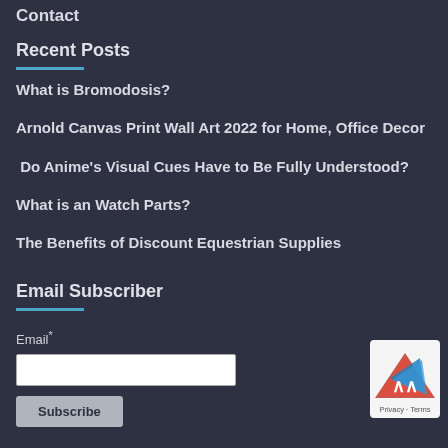Contact
Recent Posts
What is Bromodosis?
Arnold Canvas Print Wall Art 2022 for Home, Office Decor
Do Anime's Visual Cues Have to Be Fully Understood?
What is an Watch Parts?
The Benefits of Discount Equestrian Supplies
Email Subscriber
Email*
Subscribe